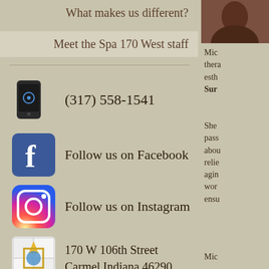What makes us different?
Meet the Spa 170 West staff
(317) 558-1541
Follow us on Facebook
Follow us on Instagram
170 W 106th Street
Carmel Indiana 46290
[Figure (photo): Portrait photo of staff member]
Mic
thera
esth
Sur
She
pass
abou
relie
agin
wor
ensu
Mic